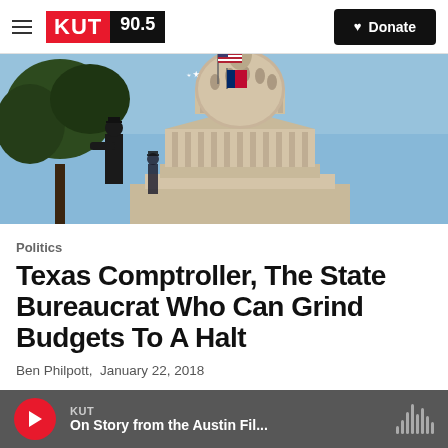KUT 90.5  Donate
[Figure (photo): Texas State Capitol building dome with American and Texas flags, with silhouette of a person and trees against blue sky]
Politics
Texas Comptroller, The State Bureaucrat Who Can Grind Budgets To A Halt
Ben Philpott,  January 22, 2018
KUT  On Story from the Austin Fil...